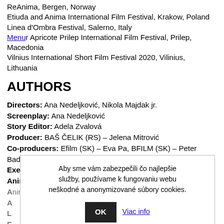ReAnima, Bergen, Norway
Etiuda and Anima International Film Festival, Krakow, Poland
Linea d'Ombra Festival, Salerno, Italy
Winter Apricote Prilep International Film Festival, Prilep, Macedonia
Vilnius International Short Film Festival 2020, Vilinius, Lithuania
AUTHORS
Directors: Ana Nedeljković, Nikola Majdak jr.
Screenplay: Ana Nedeljković
Story Editor: Adela Zvalová
Producer: BAŠ ČELIK (RS) – Jelena Mitrović
Co-producers: Efilm (SK) – Eva Pa, BFILM (SK) – Peter Badač
Executive Producer: Igor Kecman
Animation: Ana Nedeljković
Animation Supervisor: Nikola Majdak jr.
Protic
[Figure (screenshot): Cookie consent popup dialog with Slovak text: 'Aby sme vám zabezpečili čo najlepšie služby, používame k fungovaniu webu neškodné a anonymizované súbory cookies.' with OK button and 'Viac info' link.]